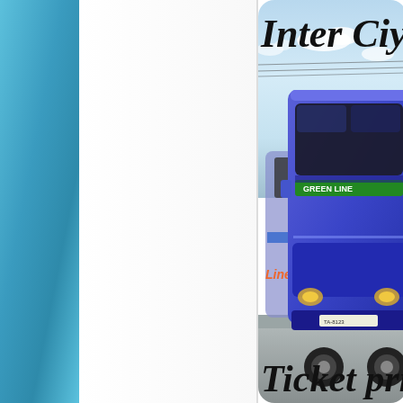[Figure (photo): A page layout showing a blue sidebar on the left, a white central area, and on the right side a photo of blue inter-city buses (Green Line brand) parked at a terminal, with decorative script text reading 'Inter City' at the top and 'Ticket pri...' at the bottom, partially cropped.]